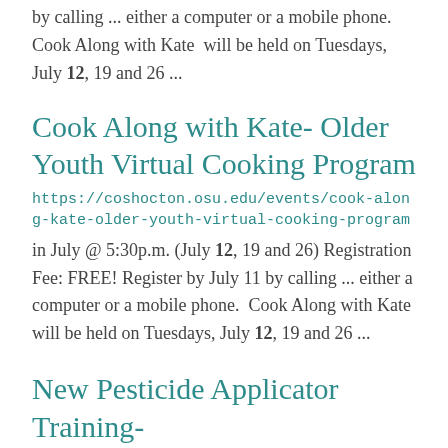by calling ... either a computer or a mobile phone.  Cook Along with Kate  will be held on Tuesdays, July 12, 19 and 26 ...
Cook Along with Kate- Older Youth Virtual Cooking Program
https://coshocton.osu.edu/events/cook-along-kate-older-youth-virtual-cooking-program
in July @ 5:30p.m. (July 12, 19 and 26) Registration Fee: FREE! Register by July 11 by calling ... either a computer or a mobile phone.  Cook Along with Kate  will be held on Tuesdays, July 12, 19 and 26 ...
New Pesticide Applicator Training-